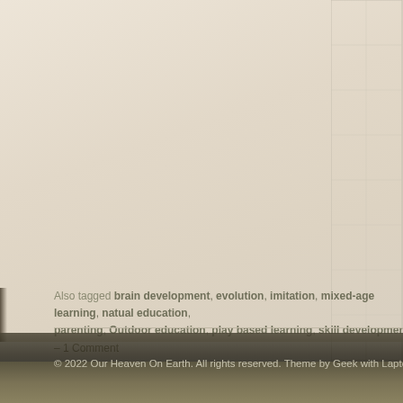[Figure (other): Partial view of a lined/ruled notebook or document page box in upper center-right area, with parchment textured background. Lower portion shows a dark painted/photographic band at the bottom of the page.]
Also tagged brain development, evolution, imitation, mixed-age learning, natual education, parenting, Outdoor education, play based learning, skill development – 1 Comment
© 2022 Our Heaven On Earth. All rights reserved. Theme by Geek with Laptop